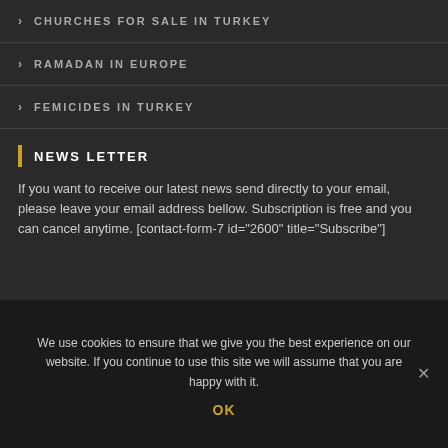> CHURCHES FOR SALE IN TURKEY
> RAMADAN IN EUROPE
> FEMICIDES IN TURKEY
NEWS LETTER
If you want to receive our latest news send directly to your email, please leave your email address bellow. Subscription is free and you can cancel anytime. [contact-form-7 id="2600" title="Subscribe"]
We use cookies to ensure that we give you the best experience on our website. If you continue to use this site we will assume that you are happy with it.
OK